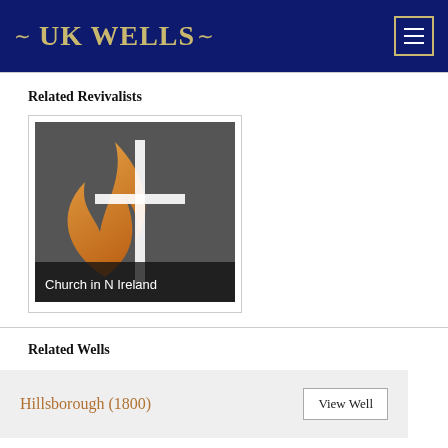UK WELLS
Related Revivalists
[Figure (illustration): United Methodist Church flame-and-cross logo on dark grey background with label 'Church in N Ireland']
Related Wells
Hillsborough (1800)   View Well